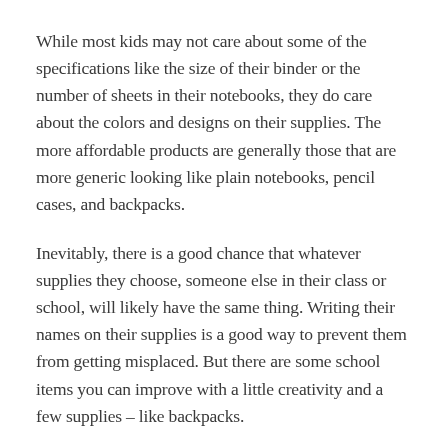While most kids may not care about some of the specifications like the size of their binder or the number of sheets in their notebooks, they do care about the colors and designs on their supplies. The more affordable products are generally those that are more generic looking like plain notebooks, pencil cases, and backpacks.
Inevitably, there is a good chance that whatever supplies they choose, someone else in their class or school, will likely have the same thing. Writing their names on their supplies is a good way to prevent them from getting misplaced. But there are some school items you can improve with a little creativity and a few supplies – like backpacks.
Stickers and original drawings are great for binder covers and folders. But when it comes to backpacks, you'll want to go the extra step to make them totally unique. Help your